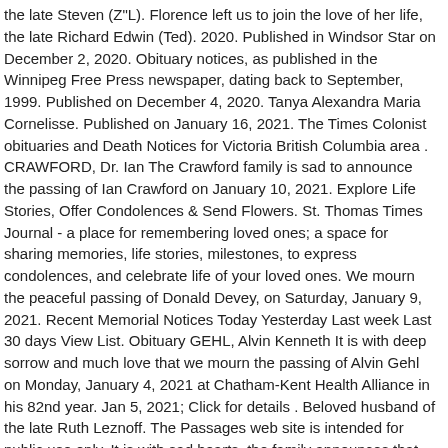the late Steven (Z"L). Florence left us to join the love of her life, the late Richard Edwin (Ted). 2020. Published in Windsor Star on December 2, 2020. Obituary notices, as published in the Winnipeg Free Press newspaper, dating back to September, 1999. Published on December 4, 2020. Tanya Alexandra Maria Cornelisse. Published on January 16, 2021. The Times Colonist obituaries and Death Notices for Victoria British Columbia area . CRAWFORD, Dr. Ian The Crawford family is sad to announce the passing of Ian Crawford on January 10, 2021. Explore Life Stories, Offer Condolences & Send Flowers. St. Thomas Times Journal - a place for remembering loved ones; a space for sharing memories, life stories, milestones, to express condolences, and celebrate life of your loved ones. We mourn the peaceful passing of Donald Devey, on Saturday, January 9, 2021. Recent Memorial Notices Today Yesterday Last week Last 30 days View List. Obituary GEHL, Alvin Kenneth It is with deep sorrow and much love that we mourn the passing of Alvin Gehl on Monday, January 4, 2021 at Chatham-Kent Health Alliance in his 82nd year. Jan 5, 2021; Click for details . Beloved husband of the late Ruth Leznoff. The Passages web site is intended for public use only. It is with sad hearts, the family announces that after a long struggle Florence passed peacefully in the evening, while at CHSLD St. Lambert-Sur-Le-